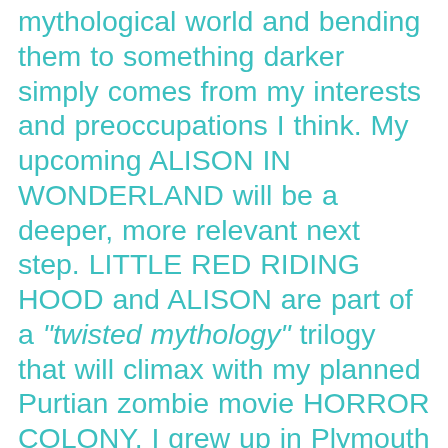mythological world and bending them to something darker simply comes from my interests and preoccupations I think. My upcoming ALISON IN WONDERLAND will be a deeper, more relevant next step. LITTLE RED RIDING HOOD and ALISON are part of a "twisted mythology" trilogy that will climax with my planned Purtian zombie movie HORROR COLONY. I grew up in Plymouth County, near where the first settlers landed in America and both my shorts were largely shot there, so the whole Pilgrim thing is our biggest real life local mythology and my most ambitious goal. Ironically, Dave Luce himself once spray-painted "Made in Taiwan" onto Plymouth Rock, you know, the first rock they landed on. Sometimes women throw their underwear onto it. I still haven't finished a full first draft of the